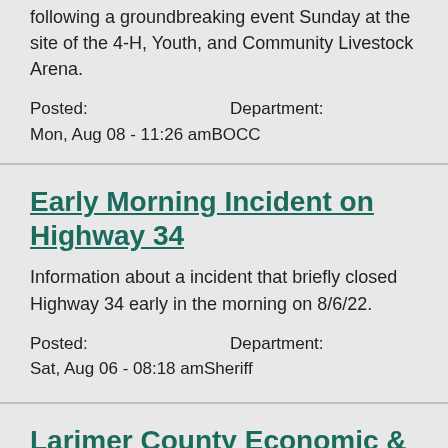The Ranch Events Complex are now underway following a groundbreaking event Sunday at the site of the 4-H, Youth, and Community Livestock Arena.
Posted: Department:
Mon, Aug 08 - 11:26 amBOCC
Early Morning Incident on Highway 34
Information about a incident that briefly closed Highway 34 early in the morning on 8/6/22.
Posted: Department:
Sat, Aug 06 - 08:18 amSheriff
Larimer County Economic & Workforce Development, Larimer Board of County...